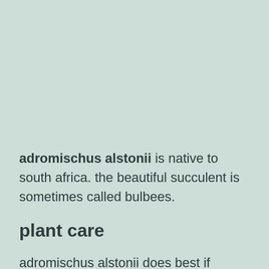adromischus alstonii is native to south africa. the beautiful succulent is sometimes called bulbees.
plant care
adromischus alstonii does best if located bright and sunny the year round. if placed outside